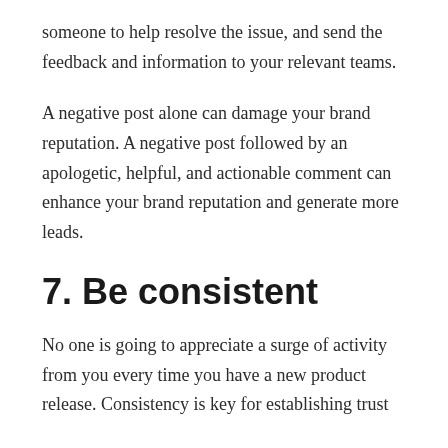someone to help resolve the issue, and send the feedback and information to your relevant teams.
A negative post alone can damage your brand reputation. A negative post followed by an apologetic, helpful, and actionable comment can enhance your brand reputation and generate more leads.
7. Be consistent
No one is going to appreciate a surge of activity from you every time you have a new product release. Consistency is key for establishing trust